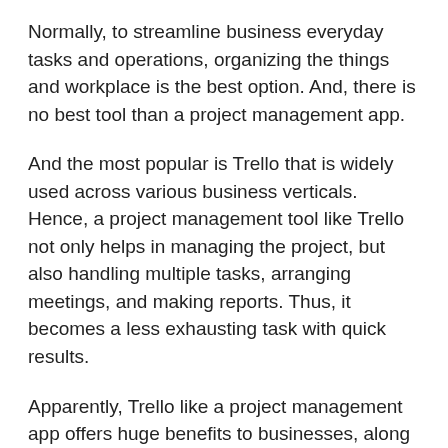Normally, to streamline business everyday tasks and operations, organizing the things and workplace is the best option. And, there is no best tool than a project management app.
And the most popular is Trello that is widely used across various business verticals. Hence, a project management tool like Trello not only helps in managing the project, but also handling multiple tasks, arranging meetings, and making reports. Thus, it becomes a less exhausting task with quick results.
Apparently, Trello like a project management app offers huge benefits to businesses, along with increasing the efficacy of the workforce and offering more freedom. It also helps to improve workplace communication internally and externally for meeting project deadlines.